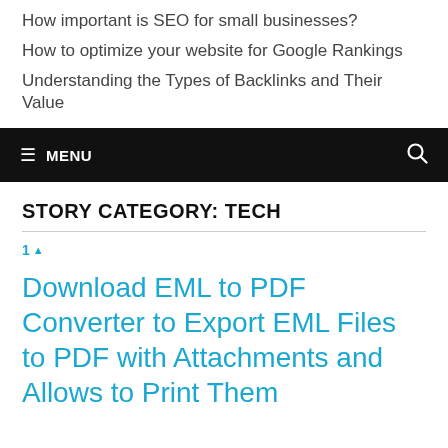How important is SEO for small businesses?
How to optimize your website for Google Rankings
Understanding the Types of Backlinks and Their Value
≡ MENU 🔍
STORY CATEGORY: TECH
1 ▲
Download EML to PDF Converter to Export EML Files to PDF with Attachments and Allows to Print Them